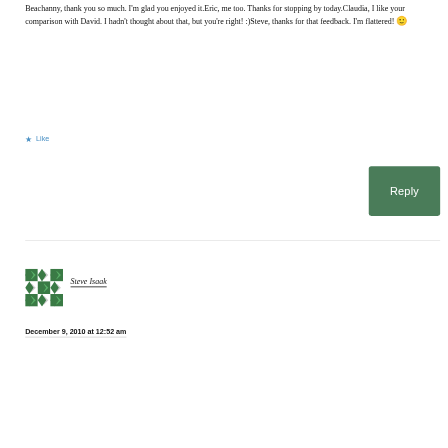Beachanny, thank you so much. I'm glad you enjoyed it.Eric, me too. Thanks for stopping by today.Claudia, I like your comparison with David. I hadn't thought about that, but you're right! :)Steve, thanks for that feedback. I'm flattered! 🙂
★ Like
[Figure (other): Green Reply button]
[Figure (other): Avatar image for Steve Isaak - green geometric pattern]
Steve Isaak
December 9, 2010 at 12:52 am